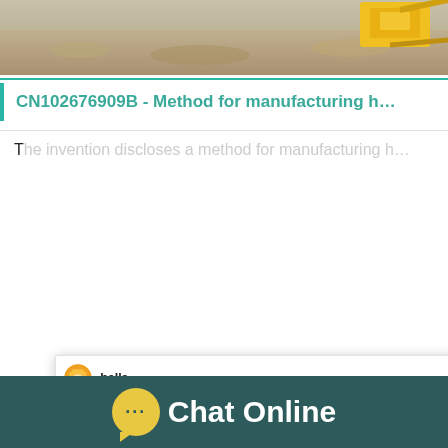[Figure (photo): Quarry/mining site with gravel/sand and yellow construction machinery in background]
CN102676909B - Method for manufacturing h…
T… (body text partially hidden behind chat popup)
[Figure (screenshot): Chat popup from Liming Heavy Industry with avatar 'bella' and message: Welcome to Liming Heavy Industry! Now our on-line service is chatting with you! please choose: 1.English]
Processingmaterial:Bentonite,construction wa… Stone,coal
Capacity:106T/H
Finished product fineness:0-10mm,10-20mm…
[Figure (photo): Industrial cone crusher machine with blue chat badge showing '1' and 'Click me to chat>>' button]
Chat Online